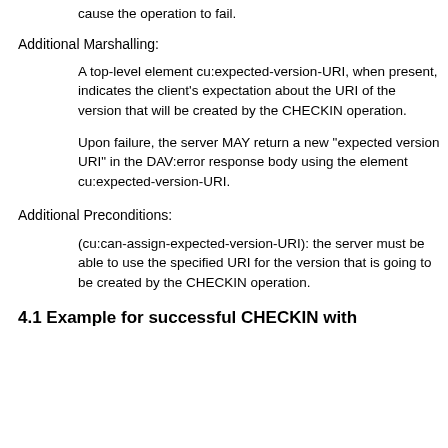cause the operation to fail.
Additional Marshalling:
A top-level element cu:expected-version-URI, when present, indicates the client's expectation about the URI of the version that will be created by the CHECKIN operation.
Upon failure, the server MAY return a new "expected version URI" in the DAV:error response body using the element cu:expected-version-URI.
Additional Preconditions:
(cu:can-assign-expected-version-URI): the server must be able to use the specified URI for the version that is going to be created by the CHECKIN operation.
4.1  Example for successful CHECKIN with